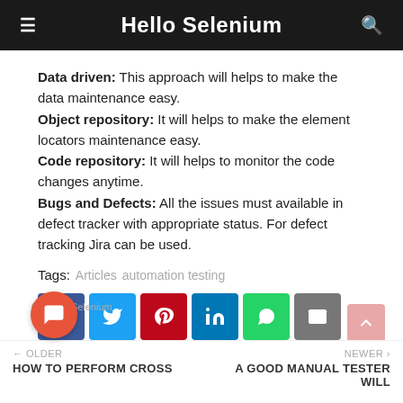Hello Selenium
Data driven: This approach will helps to make the data maintenance easy. Object repository: It will helps to make the element locators maintenance easy. Code repository: It will helps to monitor the code changes anytime. Bugs and Defects: All the issues must available in defect tracker with appropriate status. For defect tracking Jira can be used.
Tags: Articles  automation testing
[Figure (infographic): Social sharing buttons: Facebook, Twitter, Pinterest, LinkedIn, WhatsApp, Email]
OLDER - HOW TO PERFORM CROSS | NEWER - A GOOD MANUAL TESTER WILL